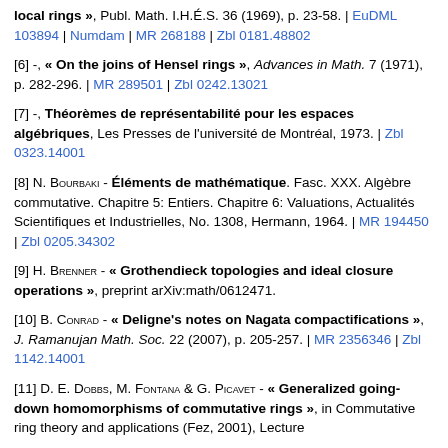[5] (cont.) local rings », Publ. Math. I.H.É.S. 36 (1969), p. 23-58. | EuDML 103894 | Numdam | MR 268188 | Zbl 0181.48802
[6] -, « On the joins of Hensel rings », Advances in Math. 7 (1971), p. 282-296. | MR 289501 | Zbl 0242.13021
[7] -, Théorèmes de représentabilité pour les espaces algébriques, Les Presses de l'université de Montréal, 1973. | Zbl 0323.14001
[8] N. Bourbaki - Éléments de mathématique. Fasc. XXX. Algèbre commutative. Chapitre 5: Entiers. Chapitre 6: Valuations, Actualités Scientifiques et Industrielles, No. 1308, Hermann, 1964. | MR 194450 | Zbl 0205.34302
[9] H. Brenner - « Grothendieck topologies and ideal closure operations », preprint arXiv:math/0612471.
[10] B. Conrad - « Deligne's notes on Nagata compactifications », J. Ramanujan Math. Soc. 22 (2007), p. 205-257. | MR 2356346 | Zbl 1142.14001
[11] D. E. Dobbs, M. Fontana & G. Picavet - « Generalized going-down homomorphisms of commutative rings », in Commutative ring theory and applications (Fez, 2001), Lecture ...